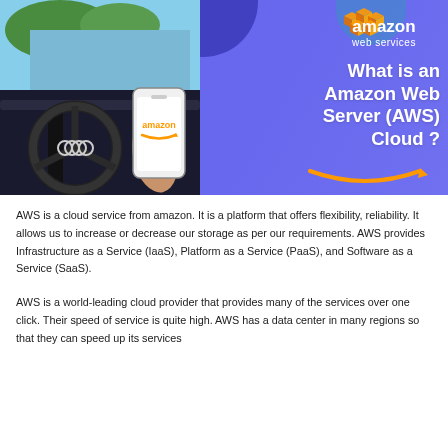[Figure (illustration): Banner image showing a person holding an Amazon-branded phone in a car interior (Audi), with AWS logo and title 'What is an Amazon Web Server (AWS) Cloud?' on a purple background with decorative blue blobs and Amazon smile arrow.]
AWS is a cloud service from amazon. It is a platform that offers flexibility, reliability. It allows us to increase or decrease our storage as per our requirements. AWS provides Infrastructure as a Service (IaaS), Platform as a Service (PaaS), and Software as a Service (SaaS).
AWS is a world-leading cloud provider that provides many of the services over one click. Their speed of service is quite high. AWS has a data center in many regions so that they can speed up its services